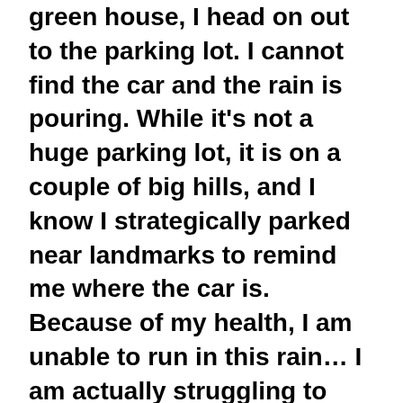green house, I head on out to the parking lot. I cannot find the car and the rain is pouring. While it's not a huge parking lot, it is on a couple of big hills, and I know I strategically parked near landmarks to remind me where the car is. Because of my health, I am unable to run in this rain… I am actually struggling to walk up and down the hills of the parking lot… and after circling twice I am so weak I feel like I could fall at any second. I am lost and soon become so disoriented I don't even remember where or who I am for a few seconds. I am broken and scared, and having inner conversations with You.
I walk up the hills one more time, and I keep...